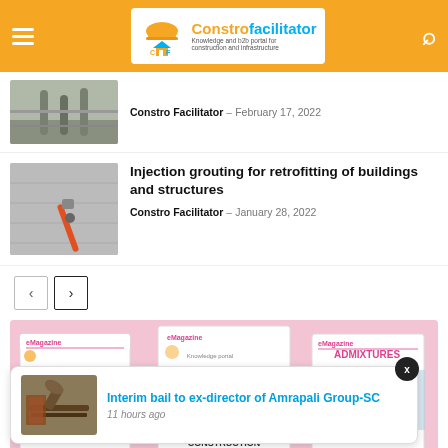Constrofacilitator — Knowledge and b2b portal for construction and infrastructure
[Figure (photo): Construction/grouting photo thumbnail for previous article]
Constro Facilitator – February 17, 2022
Injection grouting for retrofitting of buildings and structures
Constro Facilitator – January 28, 2022
[Figure (photo): Injection grouting photo thumbnail]
[Figure (illustration): eMagazine covers: Technology in Construction, Construction Tools, Admixtures]
[Figure (photo): Notification popup thumbnail: gavel/court image]
Interim bail to ex-director of Amrapali Group-SC
11 hours ago